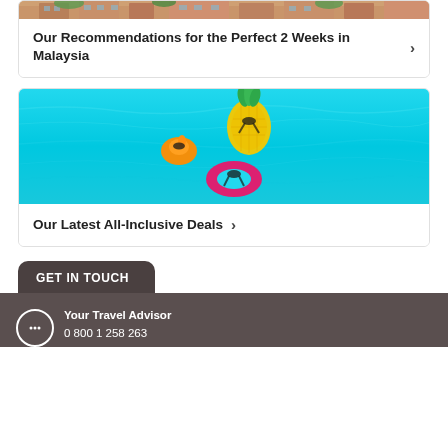[Figure (photo): Top portion of a hotel building with terracotta/pink facade, partially cropped at top]
Our Recommendations for the Perfect 2 Weeks in Malaysia
[Figure (photo): Aerial view of a turquoise swimming pool with three people floating on colorful inflatables: orange duck, yellow pineapple, and pink ring]
Our Latest All-Inclusive Deals
GET IN TOUCH
Your Travel Advisor
0 800 1 258 263